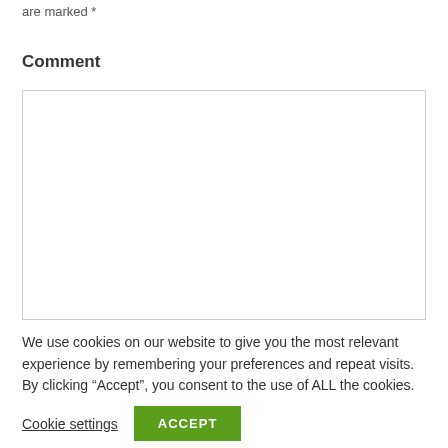are marked *
Comment
[Figure (other): Empty comment text area input box with light gray border]
We use cookies on our website to give you the most relevant experience by remembering your preferences and repeat visits. By clicking “Accept”, you consent to the use of ALL the cookies.
Cookie settings   ACCEPT